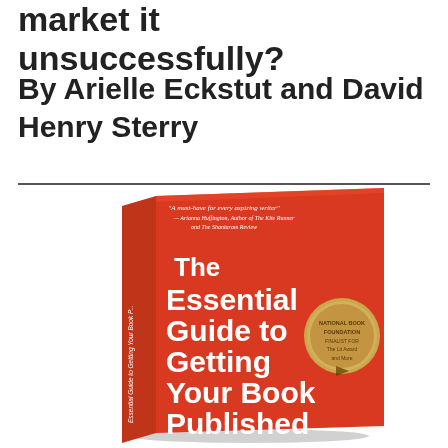market it unsuccessfully?
By Arielle Eckstut and David Henry Sterry
[Figure (photo): Book cover of 'The Essential Guide to Getting Your Book Published' by Arielle Eckstut and David Henry Sterry. The cover is red with white bold text. A gold medal badge is on the right side. The book is shown in a 3D angled perspective with the spine visible on the left side.]